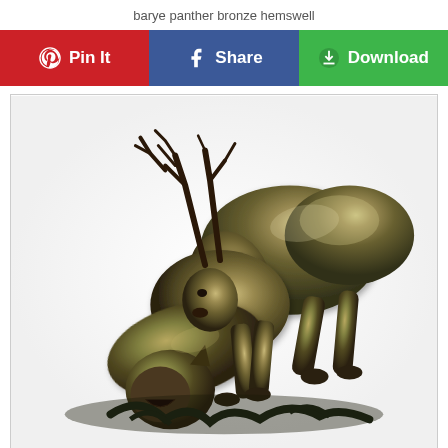barye panther bronze hemswell
[Figure (other): Social sharing buttons: Pin It (red/Pinterest), Share (blue/Facebook), Download (green)]
[Figure (photo): Bronze sculpture of a panther attacking a stag/deer, dark patinated bronze, highly detailed, animals in dynamic struggle pose]